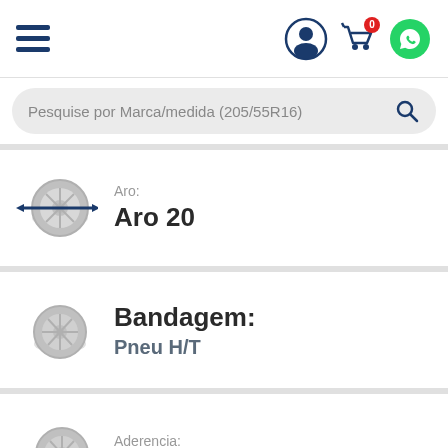Navigation bar with hamburger menu, user icon, cart (0), and WhatsApp icon
Pesquise por Marca/medida (205/55R16)
[Figure (illustration): Gray tire/wheel icon with blue horizontal arrow indicating wheel diameter measurement (Aro)]
Aro:
Aro 20
[Figure (illustration): Gray tire/wheel icon representing bandagem (tire tread type)]
Bandagem:
Pneu H/T
[Figure (illustration): Gray tire/wheel icon with blue arrow arc at bottom indicating traction/adherence]
Aderencia:
Traction A